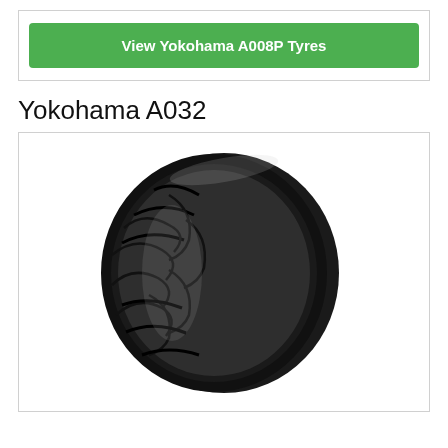View Yokohama A008P Tyres
Yokohama A032
[Figure (photo): Yokohama A032 tyre mounted on a white wheel/rim, showing the tread pattern with diagonal grooves and chevron cuts on a white background.]